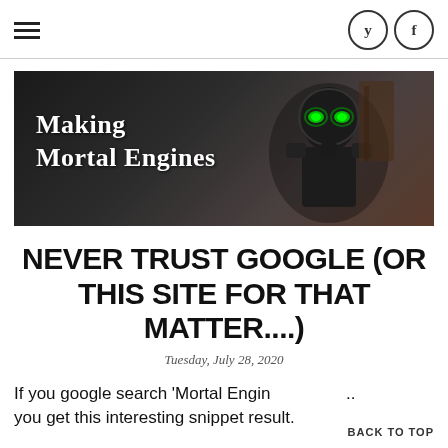Making Mortal Engines — site header with hamburger menu and Twitter/Facebook icons
[Figure (photo): Banner image showing 'Making Mortal Engines' text over a dark atmospheric game/movie screenshot with a figure wearing goggles with green glowing eyes]
NEVER TRUST GOOGLE (OR THIS SITE FOR THAT MATTER....)
Tuesday, July 28, 2020
If you google search 'Mortal Engin you get this interesting snippet result.
BACK TO TOP